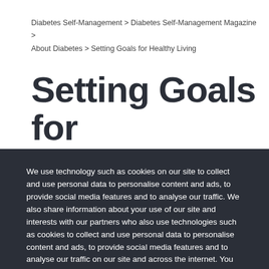Diabetes Self-Management > Diabetes Self-Management Magazine > About Diabetes > Setting Goals for Healthy Living
Setting Goals for
We use technology such as cookies on our site to collect and use personal data to personalise content and ads, to provide social media features and to analyse our traffic. We also share information about your use of our site and interests with our partners who also use technologies such as cookies to collect and use personal data to personalise content and ads, to provide social media features and to analyse our traffic on our site and across the internet. You can always change your mind and revisit your choices.